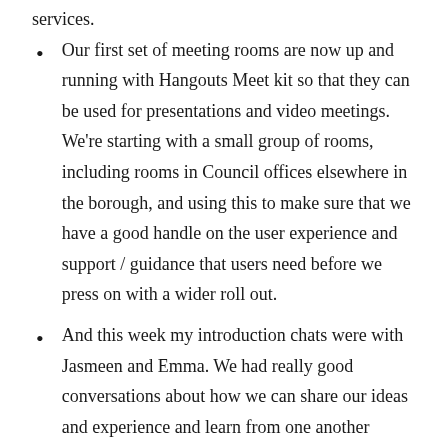services.
Our first set of meeting rooms are now up and running with Hangouts Meet kit so that they can be used for presentations and video meetings. We're starting with a small group of rooms, including rooms in Council offices elsewhere in the borough, and using this to make sure that we have a good handle on the user experience and support / guidance that users need before we press on with a wider roll out.
And this week my introduction chats were with Jasmeen and Emma. We had really good conversations about how we can share our ideas and experience and learn from one another across the team, and also the different organisations that